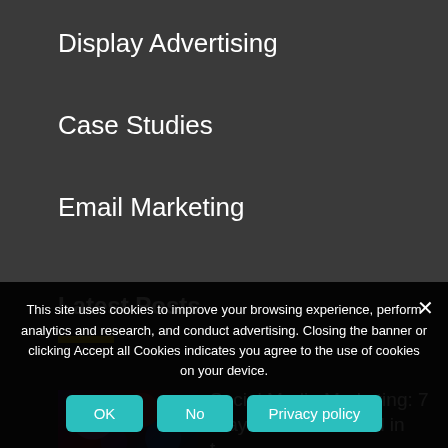Display Advertising
Case Studies
Email Marketing
Latest Posts
[Figure (photo): Social media icons collage with various platform logos on dark background]
Social Media Marketing: 7 Ways It Has Evolved in t...
This site uses cookies to improve your browsing experience, perform analytics and research, and conduct advertising. Closing the banner or clicking Accept all Cookies indicates you agree to the use of cookies on your device.